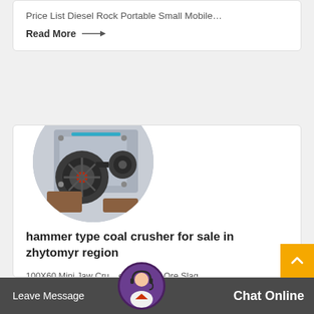Price List Diesel Rock Portable Small Mobile…
Read More →
[Figure (photo): Circular cropped photo of a large gray hammer/jaw crusher industrial machine with black flywheel and red center hub, set against industrial background.]
hammer type coal crusher for sale in zhytomyr region
100X60 Mini Jaw Crusher for Rock Ore Slag Stone Crushing Mining 021088. 4.0 out of 5 stars · $675.00 · $675
Leave Message  Chat Online